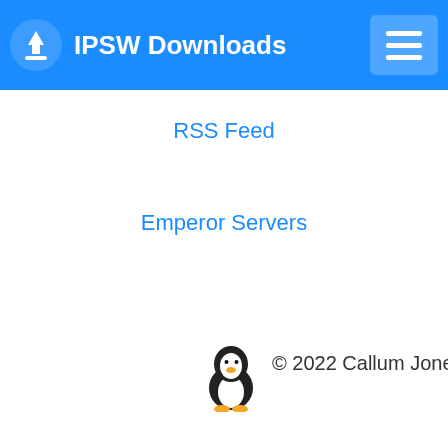IPSW Downloads
RSS Feed
Emperor Servers
[Figure (illustration): Tux the Linux penguin mascot icon]
© 2022 Callum Jones